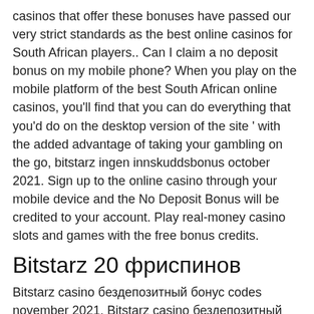casinos that offer these bonuses have passed our very strict standards as the best online casinos for South African players.. Can I claim a no deposit bonus on my mobile phone? When you play on the mobile platform of the best South African online casinos, you'll find that you can do everything that you'd do on the desktop version of the site ' with the added advantage of taking your gambling on the go, bitstarz ingen innskuddsbonus october 2021. Sign up to the online casino through your mobile device and the No Deposit Bonus will be credited to your account. Play real-money casino slots and games with the free bonus credits.
Bitstarz 20 фриспинов
Bitstarz casino бездепозитный бонус codes november 2021. Bitstarz casino бездепозитный бонус codes november 2021. Bitstarz casino ingen innskuddsbonus